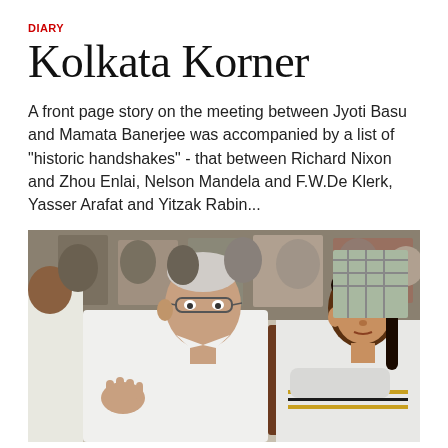DIARY
Kolkata Korner
A front page story on the meeting between Jyoti Basu and Mamata Banerjee was accompanied by a list of "historic handshakes" - that between Richard Nixon and Zhou Enlai, Nelson Mandela and F.W.De Klerk, Yasser Arafat and Yitzak Rabin...
[Figure (photo): Photo of Jyoti Basu and Mamata Banerjee seated side by side, with a crowd of people visible in the background.]